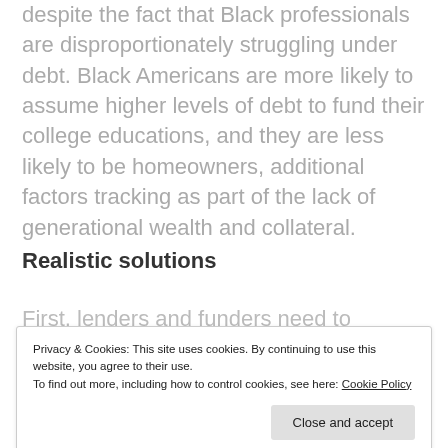despite the fact that Black professionals are disproportionately struggling under debt. Black Americans are more likely to assume higher levels of debt to fund their college educations, and they are less likely to be homeowners, additional factors tracking as part of the lack of generational wealth and collateral.
Realistic solutions
First, lenders and funders need to immediately
Privacy & Cookies: This site uses cookies. By continuing to use this website, you agree to their use.
To find out more, including how to control cookies, see here: Cookie Policy